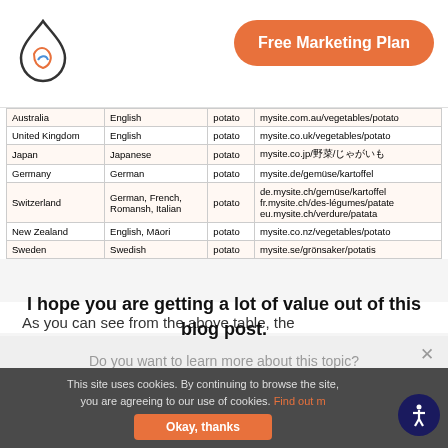Free Marketing Plan
| Country | Language | Keyword | URL |
| --- | --- | --- | --- |
| Australia | English | potato | mysite.com.au/vegetables/potato |
| United Kingdom | English | potato | mysite.co.uk/vegetables/potato |
| Japan | Japanese | potato | mysite.co.jp/野菜/じゃがいも |
| Germany | German | potato | mysite.de/gemüse/kartoffel |
| Switzerland | German, French, Romansh, Italian | potato | de.mysite.ch/gemüse/kartoffel
fr.mysite.ch/des-légumes/patate
eu.mysite.ch/verdure/patata |
| New Zealand | English, Māori | potato | mysite.co.nz/vegetables/potato |
| Sweden | Swedish | potato | mysite.se/grönsaker/potatis |
As you can see from the above table, the
I hope you are getting a lot of value out of this blog post.
Do you want to learn more about this topic? Schedule a Free Consultation call with a Single Grain Expert now!
This site uses cookies. By continuing to browse the site, you are agreeing to our use of cookies. Find out more. Okay, thanks